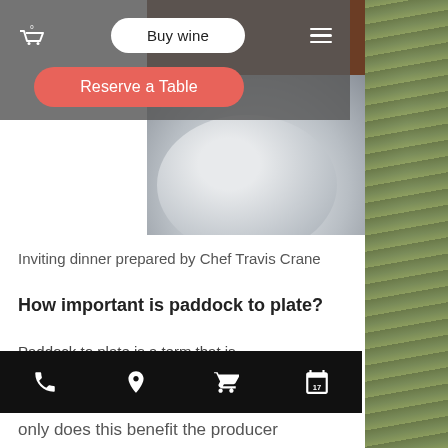[Figure (screenshot): Website screenshot showing navigation bar overlay with cart icon, Buy wine button, hamburger menu, and Reserve a Table button in coral/red, over a food photo with a white plate]
Inviting dinner prepared by Chef Travis Crane
How important is paddock to plate?
Paddock to plate is a term that is thrown around quite loosely these days,
[Figure (screenshot): Black bottom navigation bar with phone, location pin, shopping cart, and calendar icons]
only does this benefit the producer